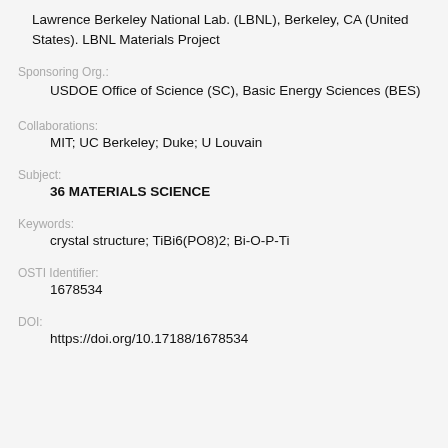Lawrence Berkeley National Lab. (LBNL), Berkeley, CA (United States). LBNL Materials Project
Sponsoring Org.:
USDOE Office of Science (SC), Basic Energy Sciences (BES)
Collaborations:
MIT; UC Berkeley; Duke; U Louvain
Subject:
36 MATERIALS SCIENCE
Keywords:
crystal structure; TiBi6(PO8)2; Bi-O-P-Ti
OSTI Identifier:
1678534
DOI:
https://doi.org/10.17188/1678534